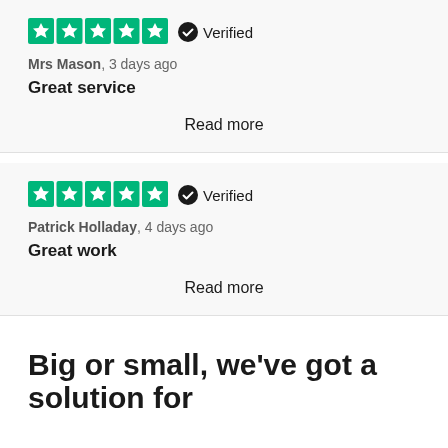[Figure (other): 5-star Trustpilot rating with Verified badge for Mrs Mason review]
Mrs Mason, 3 days ago
Great service
Read more
[Figure (other): 5-star Trustpilot rating with Verified badge for Patrick Holladay review]
Patrick Holladay, 4 days ago
Great work
Read more
Big or small, we've got a solution for